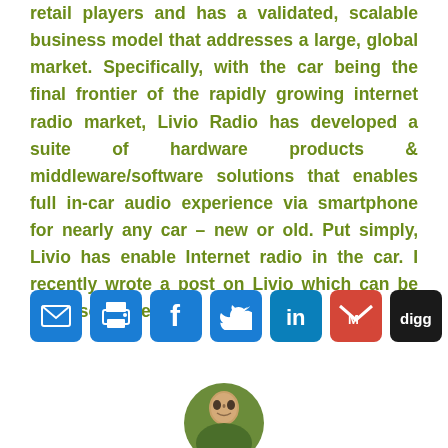retail players and has a validated, scalable business model that addresses a large, global market. Specifically, with the car being the final frontier of the rapidly growing internet radio market, Livio Radio has developed a suite of hardware products & middleware/software solutions that enables full in-car audio experience via smartphone for nearly any car – new or old.  Put simply, Livio has enable Internet radio in the car.  I recently wrote a post on Livio which can be accessed here.
[Figure (infographic): Social sharing buttons row: Email, Print, Facebook, Twitter, LinkedIn, Gmail, Digg, More (+)]
[Figure (photo): Circular avatar photo of a person, partially visible at the bottom of the page]